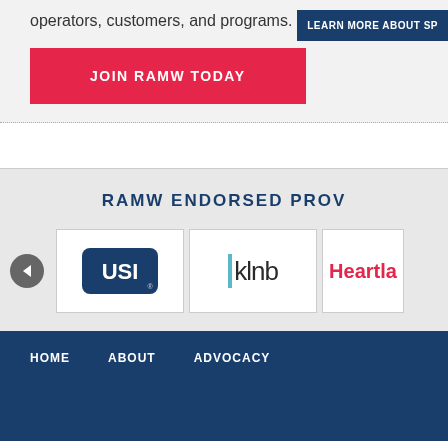operators, customers, and programs.
JOIN RAMW TODAY
LEARN MORE ABOUT SP
RAMW ENDORSED PROV
[Figure (logo): USI logo in blue rectangle with white text]
[Figure (logo): klnb logo with teal vertical bar and dark text]
[Figure (logo): Heartland logo partial, red text]
HOME   ABOUT   ADVOCACY